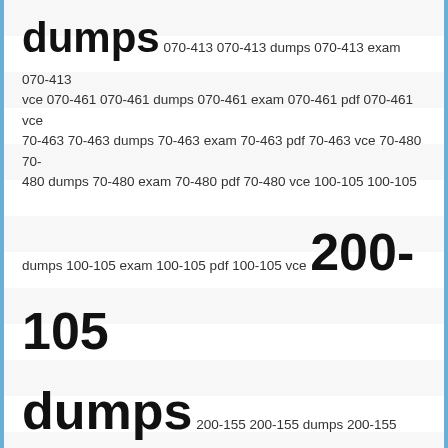dumps 070-413 070-413 dumps 070-413 exam 070-413 vce 070-461 070-461 dumps 070-461 exam 070-461 pdf 070-461 vce 70-463 70-463 dumps 70-463 exam 70-463 pdf 70-463 vce 70-480 70-480 dumps 70-480 exam 70-480 pdf 70-480 vce 100-105 100-105 dumps 100-105 exam 100-105 pdf 100-105 vce 200-105 dumps 200-155 200-155 dumps 200-155 exam 200-155 pdf 200-155 vce 300-075 300-075 dumps 300-075 exam 300-075 pdf 300-075 vce 300-135 dumps 300-135 dumps pdf 300-135 tshoot 300-160 dumps lead4pass 3V0-21.21 dumps lead4pass 3V0-21.21 dumps pdf